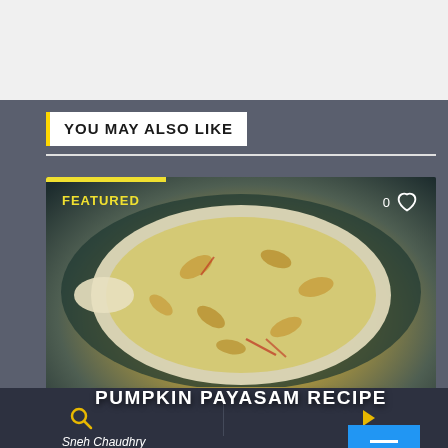YOU MAY ALSO LIKE
[Figure (photo): Featured card showing a bowl of Pumpkin Payasam recipe with text overlay, heart icon with count 0, author Sneh Chaudhry, and a blue button]
FEATURED
0
PUMPKIN PAYASAM RECIPE
Sneh Chaudhry